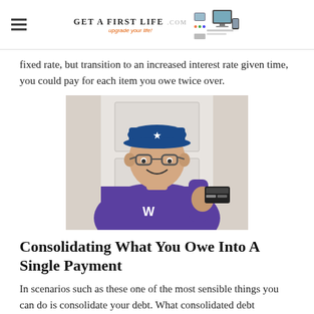Get A First Life — upgrade your life!
fixed rate, but transition to an increased interest rate given time, you could pay for each item you owe twice over.
[Figure (photo): Young Asian man wearing a blue Mariners baseball cap and a purple University of Washington hoodie, smiling and holding up a credit card toward the camera. He is standing in front of a white door.]
Consolidating What You Owe Into A Single Payment
In scenarios such as these one of the most sensible things you can do is consolidate your debt. What consolidated debt